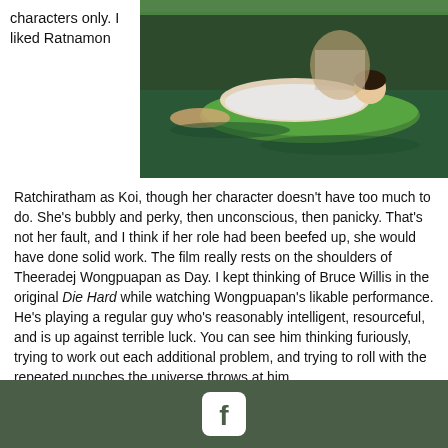characters only. I liked Ratnamon
[Figure (photo): Scene from The Pool movie showing a person floating in a pool on an inflatable raft, held by another person in the water]
Ratchiratham as Koi, though her character doesn't have too much to do. She's bubbly and perky, then unconscious, then panicky. That's not her fault, and I think if her role had been beefed up, she would have done solid work. The film really rests on the shoulders of Theeradej Wongpuapan as Day. I kept thinking of Bruce Willis in the original Die Hard while watching Wongpuapan's likable performance. He's playing a regular guy who's reasonably intelligent, resourceful, and is up against terrible luck. You can see him thinking furiously, trying to work out each additional problem, and trying to roll with the repeated punches the universe throws at him.
At the end of the day, The Pool sinks or swims based on its execution. While the film gets dopey at times, and it goes to a
[Figure (logo): Facebook logo icon (white F on rounded square) on dark olive/green background footer bar]